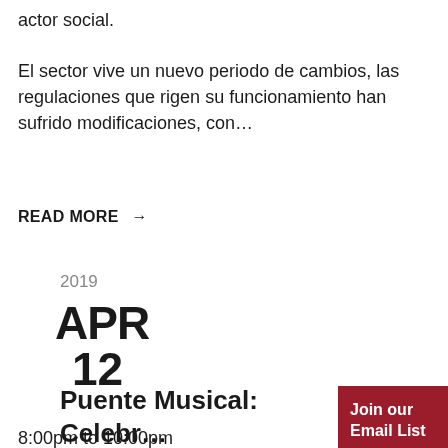actor social.
El sector vive un nuevo periodo de cambios, las regulaciones que rigen su funcionamiento han sufrido modificaciones, con…
READ MORE →
2019
APR
12
Puente Musical: Celebr… Chucho Valdés
8:00pm to 10:00pm
Join our Email List